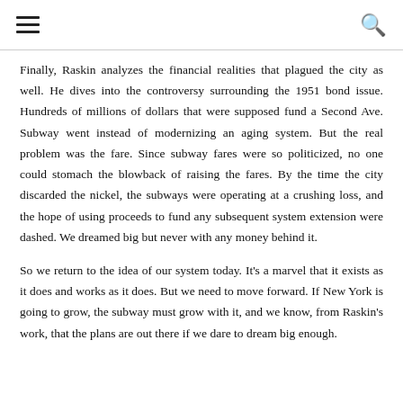≡  🔍
Finally, Raskin analyzes the financial realities that plagued the city as well. He dives into the controversy surrounding the 1951 bond issue. Hundreds of millions of dollars that were supposed fund a Second Ave. Subway went instead of modernizing an aging system. But the real problem was the fare. Since subway fares were so politicized, no one could stomach the blowback of raising the fares. By the time the city discarded the nickel, the subways were operating at a crushing loss, and the hope of using proceeds to fund any subsequent system extension were dashed. We dreamed big but never with any money behind it.
So we return to the idea of our system today. It's a marvel that it exists as it does and works as it does. But we need to move forward. If New York is going to grow, the subway must grow with it, and we know, from Raskin's work, that the plans are out there if we dare to dream big enough.